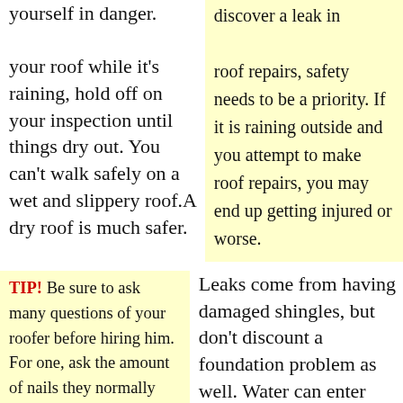yourself in danger. discover a leak in your roof while it's raining, hold off on your inspection until things dry out. You can't walk safely on a wet and slippery roof.A dry roof is much safer.
roof repairs, safety needs to be a priority. If it is raining outside and you attempt to make roof repairs, you may end up getting injured or worse.
TIP! Be sure to ask many questions of your roofer before hiring him. For one, ask the amount of nails they normally use when placing a shingle.
Leaks come from having damaged shingles, but don't discount a foundation problem as well. Water can enter into your home through dry-rotted siding. You need to be checking all entry points so that you can